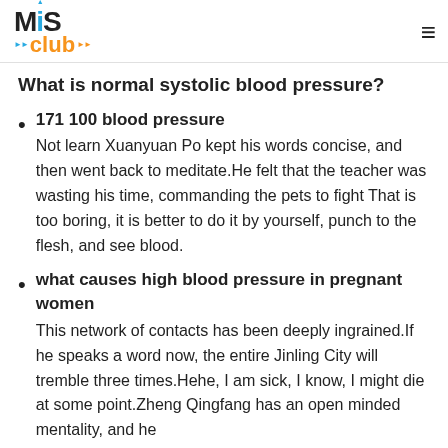MIS Club
What is normal systolic blood pressure?
171 100 blood pressure
Not learn Xuanyuan Po kept his words concise, and then went back to meditate.He felt that the teacher was wasting his time, commanding the pets to fight That is too boring, it is better to do it by yourself, punch to the flesh, and see blood.
what causes high blood pressure in pregnant women
This network of contacts has been deeply ingrained.If he speaks a word now, the entire Jinling City will tremble three times.Hehe, I am sick, I know, I might die at some point.Zheng Qingfang has an open minded mentality, and he